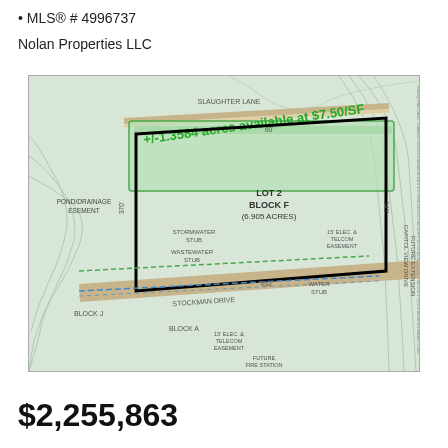MLS® # 4996737
Nolan Properties LLC
[Figure (engineering-diagram): Property plat map showing Lot 2 Block F (6.905 acres) with +/-1.3584 acres available at $7.50/SF highlighted in green along the top border. Map shows Slaughter Lane to the north, Stockman Drive to the south, Capitol View Drive Future Extension to the east, and Pond/Drainage Easement to the west. Includes labels for stormwater stub, wastewater stub, water stub, 15' elec. & telecom easements, and future fire station. Block J shown to the southwest.]
$2,255,863